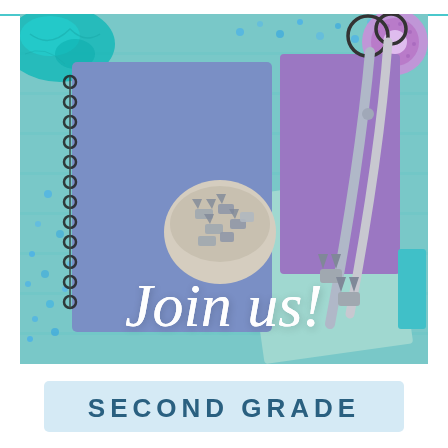[Figure (photo): Flat-lay photo of school/craft supplies on a teal wooden surface: blue spiral notebook, bowl of metal binder clips, purple folder, mint-green card, silver scissors, teal crumpled paper, scattered blue sequins/beads, purple tape roll. White script text overlay reads 'Join us!']
SECOND GRADE